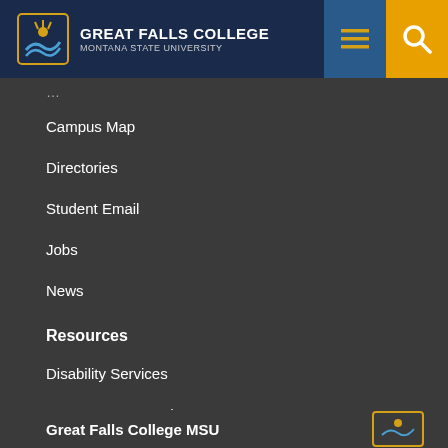Great Falls College Montana State University
Campus Map
Directories
Student Email
Jobs
News
Resources
Disability Services
Emergency Procedures
Text Only Site
Legal & Privacy Policy
Non-Discrimination Statement
Safety and Security
Student Resources
Great Falls College MSU